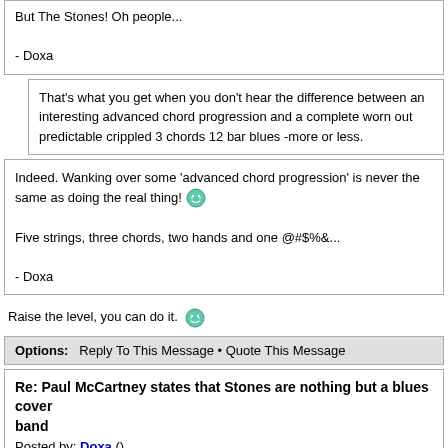But The Stones! Oh people...

- Doxa
That's what you get when you don't hear the difference between an interesting advanced chord progression and a complete worn out predictable crippled 3 chords 12 bar blues -more or less.
Indeed. Wanking over some 'advanced chord progression' is never the same as doing the real thing! [emoji]

Five strings, three chords, two hands and one @#$%&...

- Doxa
Raise the level, you can do it. [emoji]
Options:   Reply To This Message • Quote This Message
Re: Paul McCartney states that Stones are nothing but a blues cover band
Posted by: Doxa ()
Date: October 18, 2021 01:42
Quote
TheflyingDutchman

Raise the level, you can do it. [emoji]
I cannot, my taste is stubborn and omnipotent, it makes no compromise, it is